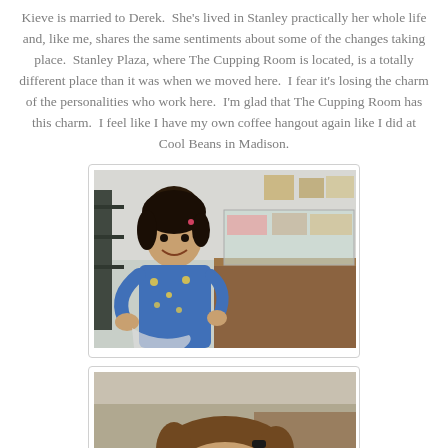Kieve is married to Derek.  She's lived in Stanley practically her whole life and, like me, shares the same sentiments about some of the changes taking place.  Stanley Plaza, where The Cupping Room is located, is a totally different place than it was when we moved here.  I fear it's losing the charm of the personalities who work here.  I'm glad that The Cupping Room has this charm.  I feel like I have my own coffee hangout again like I did at Cool Beans in Madison.
[Figure (photo): A young child with short dark hair wearing a blue patterned pajama top, standing in what appears to be a shop with display cases containing candy or bulk goods on shelves behind.]
[Figure (photo): Partial view of a person's head with brown hair, in what appears to be the same shop setting, cropped at bottom of page.]